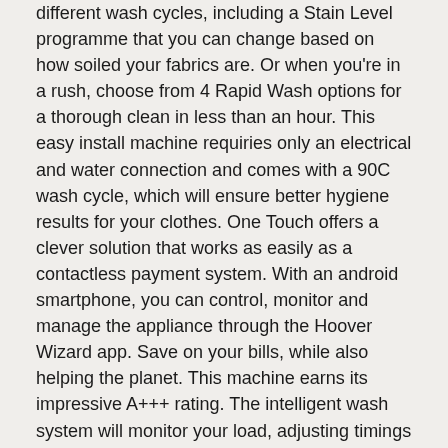different wash cycles, including a Stain Level programme that you can change based on how soiled your fabrics are. Or when you're in a rush, choose from 4 Rapid Wash options for a thorough clean in less than an hour. This easy install machine requiries only an electrical and water connection and comes with a 90C wash cycle, which will ensure better hygiene results for your clothes. One Touch offers a clever solution that works as easily as a contactless payment system. With an android smartphone, you can control, monitor and manage the appliance through the Hoover Wizard app. Save on your bills, while also helping the planet. This machine earns its impressive A+++ rating. The intelligent wash system will monitor your load, adjusting timings and energy usage to keep them as low as possible. Or you can choose the handy Eco Mode for a thorough wash with even less consumption. Overview:Wash capacity 8kg. 15 programmes. Variable spin speed. Variable temperature. 14 minute quick wash. Manufacturer's 10 year parts and 1 year labour guarantee. Size H85, W60, D54cm. Programmes:Baby. Cottons. Darks. Delicates. Economy. Automatic half load. Hand wash. Mixed. Pre-wash option. Quick wash. Sensitive. Shirts. Spin and drain. Synthetics. Wool. Controls:Digit display. Dial control. NFC enabled. 24 hours delayed start. Time remaining indicator. Performance:Energy efficiency class A+++. Spin speed 1600rpm. Estimated annual energy consumption: 196kW/year. Estimated annual water consumption: